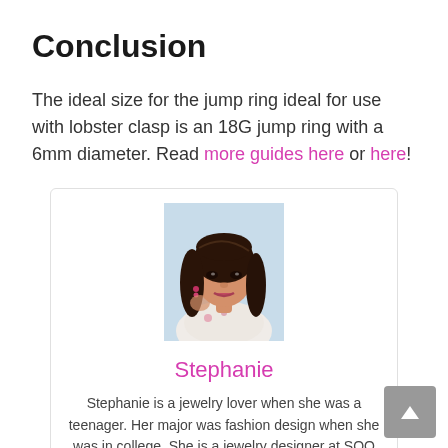Conclusion
The ideal size for the jump ring ideal for use with lobster clasp is an 18G jump ring with a 6mm diameter. Read more guides here or here!
[Figure (photo): Portrait photo of a young Asian woman with long dark hair, wearing a floral top, posing outdoors.]
Stephanie
Stephanie is a jewelry lover when she was a teenager. Her major was fashion design when she was in college. She is a jewelry designer at SOO Jewelry and